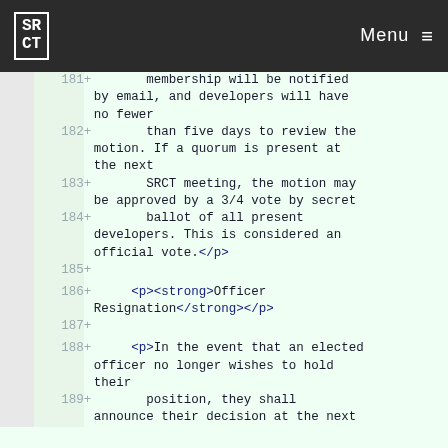SRCT Menu
181 + membership will be notified by email, and developers will have no fewer
182 + than five days to review the motion. If a quorum is present at the next
183 + SRCT meeting, the motion may be approved by a 3/4 vote by secret
184 + ballot of all present developers. This is considered an official vote.</p>
185 +
186 + <p><strong>Officer Resignation</strong></p>
187 +
188 + <p>In the event that an elected officer no longer wishes to hold their
189 + position, they shall announce their decision at the next